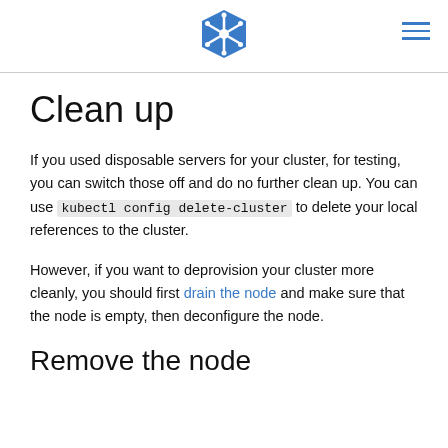[Figure (logo): Kubernetes logo - blue hexagonal ship wheel icon]
Clean up
If you used disposable servers for your cluster, for testing, you can switch those off and do no further clean up. You can use kubectl config delete-cluster to delete your local references to the cluster.
However, if you want to deprovision your cluster more cleanly, you should first drain the node and make sure that the node is empty, then deconfigure the node.
Remove the node